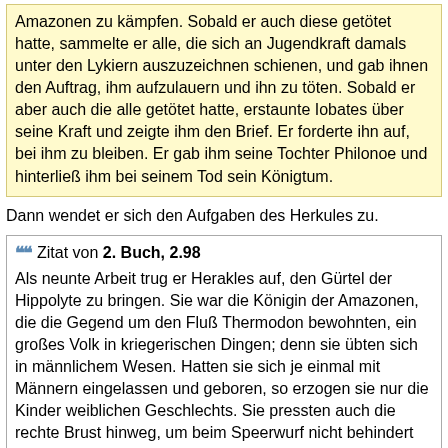Amazonen zu kämpfen. Sobald er auch diese getötet hatte, sammelte er alle, die sich an Jugendkraft damals unter den Lykiern auszuzeichnen schienen, und gab ihnen den Auftrag, ihm aufzulauern und ihn zu töten. Sobald er aber auch die alle getötet hatte, erstaunte Iobates über seine Kraft und zeigte ihm den Brief. Er forderte ihn auf, bei ihm zu bleiben. Er gab ihm seine Tochter Philonoe und hinterließ ihm bei seinem Tod sein Königtum.
Dann wendet er sich den Aufgaben des Herkules zu.
Zitat von 2. Buch, 2.98
Als neunte Arbeit trug er Herakles auf, den Gürtel der Hippolyte zu bringen. Sie war die Königin der Amazonen, die die Gegend um den Fluß Thermodon bewohnten, ein großes Volk in kriegerischen Dingen; denn sie übten sich in männlichem Wesen. Hatten sie sich je einmal mit Männern eingelassen und geboren, so erzogen sie nur die Kinder weiblichen Geschlechts. Sie pressten auch die rechte Brust hinweg, um beim Speerwurf nicht behindert zu werden, ließen aber die linke an ihrer Stelle, um säugen zu können. Hippolyte trug als Zeichen ihrer Höherstellung über alle den Gürtel des Ares. Nach diesem Gürtel wurde Herakles ausgeschickt, weil Admete, die Tochter des Eurystheus ihn zu bekommen wünschte.